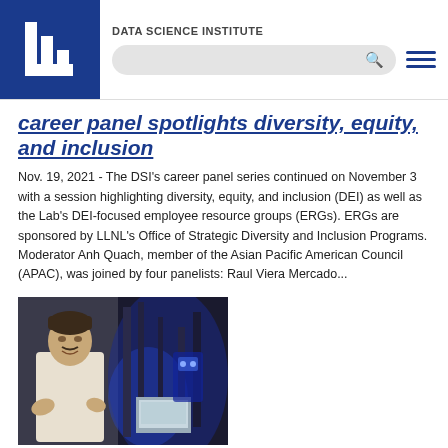DATA SCIENCE INSTITUTE
career panel spotlights diversity, equity, and inclusion
Nov. 19, 2021 - The DSI's career panel series continued on November 3 with a session highlighting diversity, equity, and inclusion (DEI) as well as the Lab's DEI-focused employee resource groups (ERGs). ERGs are sponsored by LLNL's Office of Strategic Diversity and Inclusion Programs. Moderator Anh Quach, member of the Asian Pacific American Council (APAC), was joined by four panelists: Raul Viera Mercado...
[Figure (photo): A person speaking in front of scientific equipment with blue lighting and a computer screen]
Building better materials with data science (VIDEO)